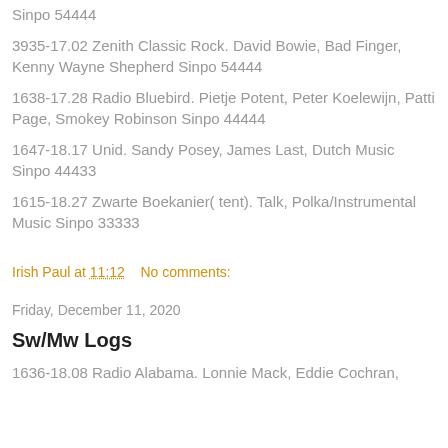Sinpo 54444
3935-17.02 Zenith Classic Rock. David Bowie, Bad Finger, Kenny Wayne Shepherd Sinpo 54444
1638-17.28 Radio Bluebird. Pietje Potent, Peter Koelewijn, Patti Page, Smokey Robinson Sinpo 44444
1647-18.17 Unid. Sandy Posey, James Last, Dutch Music Sinpo 44433
1615-18.27 Zwarte Boekanier( tent). Talk, Polka/Instrumental Music Sinpo 33333
Irish Paul at 11:12    No comments:
Friday, December 11, 2020
Sw/Mw Logs
1636-18.08 Radio Alabama. Lonnie Mack, Eddie Cochran,